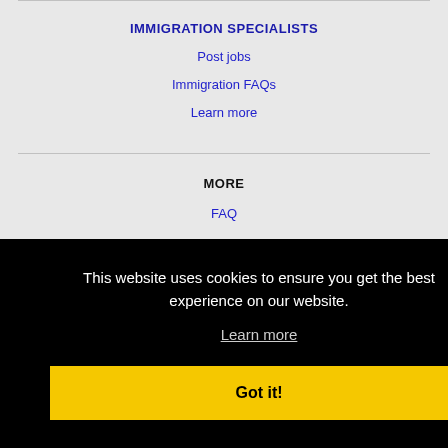IMMIGRATION SPECIALISTS
Post jobs
Immigration FAQs
Learn more
MORE
FAQ
This website uses cookies to ensure you get the best experience on our website.
Learn more
Got it!